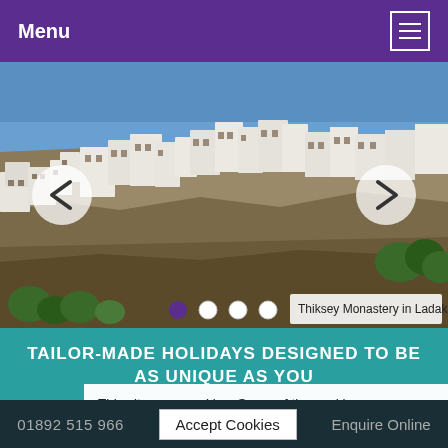Menu
[Figure (photo): Thiksey Monastery in Ladakh — white multi-story buildings cascading up a rocky hillside under a blue sky with sparse trees below]
Thiksey Monastery in Ladakh
TAILOR-MADE HOLIDAYS DESIGNED TO BE AS UNIQUE AS YOU
YOU
NO
LA
This site uses cookies. Some of the cookies we use are essential for parts of the site to operate and have already been set. You may delete and block all cookies from this site, but parts of the site will not work. To find out more about cookies on this website, see our privacy policy.
01892 515 966
Accept Cookies
Enquire Online